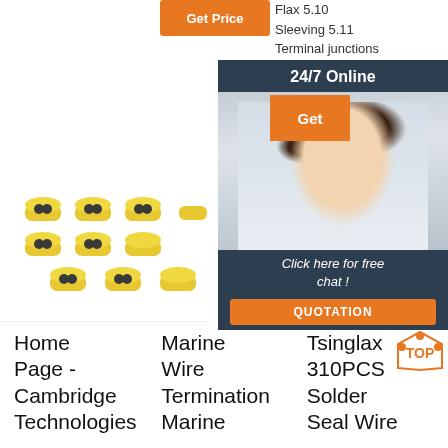[Figure (screenshot): Get Price orange button]
Flax 5.10 Sleeving 5.11 Terminal junctions 5.12 Wire Splices 5.13 Connector Potting
[Figure (infographic): 24/7 Online chat overlay with customer service representative photo, Get button, Click here for free chat text, and QUOTATION button]
[Figure (photo): Yellow heat shrink solder seal wire connectors product photo]
[Figure (photo): Blue, amber, and pink heat shrink butt connectors product photo]
[Figure (photo): Blue heat shrink solder seal wire connector product photo]
Home Page - Cambridge Technologies
Marine Wire Termination Marine
Tsinglax 310PCS Solder Seal Wire